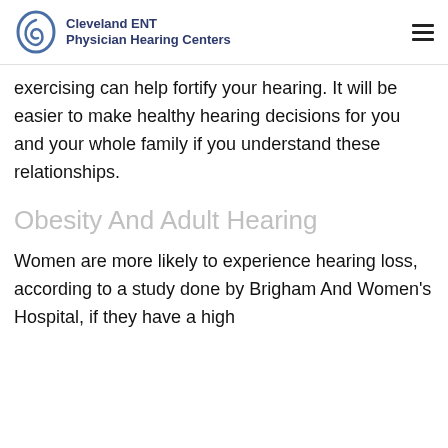Cleveland ENT Physician Hearing Centers
exercising can help fortify your hearing. It will be easier to make healthy hearing decisions for you and your whole family if you understand these relationships.
Obesity And Adult Hearing
Women are more likely to experience hearing loss, according to a study done by Brigham And Women's Hospital, if they have a high